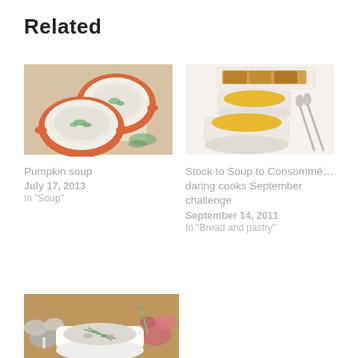Related
[Figure (photo): Orange terracotta soup bowls filled with creamy white soup garnished with herbs, on a wooden board with a cloth]
Pumpkin soup
July 17, 2013
In "Soup"
[Figure (photo): Two white cups of golden consomme broth with spoons, and a plate of bread in the background]
Stock to Soup to Consommé…daring cooks September challenge
September 14, 2011
In "Bread and pastry"
[Figure (photo): A white bowl of mushroom soup with rosemary garnish surrounded by mushrooms and onions on a wooden board]